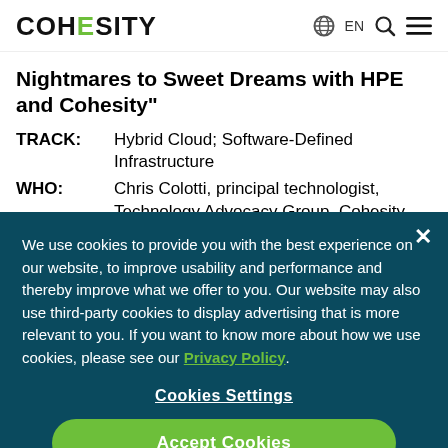COHESITY | EN
Nightmares to Sweet Dreams with HPE and Cohesity"
| TRACK: | Hybrid Cloud; Software-Defined Infrastructure |
| WHO: | Chris Colotti, principal technologist, Technology Advocacy Group, Cohesity |
| WHEN: | Tuesday, June 18, 11:00 a.m. to 11:30 |
We use cookies to provide you with the best experience on our website, to improve usability and performance and thereby improve what we offer to you. Our website may also use third-party cookies to display advertising that is more relevant to you. If you want to know more about how we use cookies, please see our Privacy Policy.
Cookies Settings
Accept Cookies